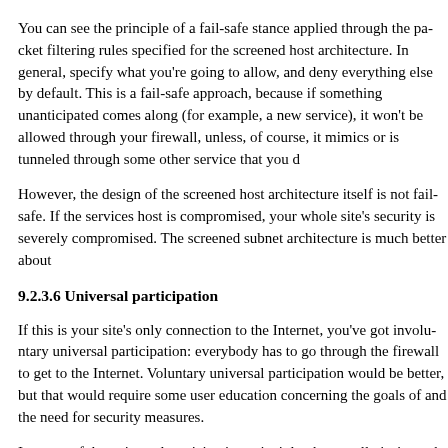You can see the principle of a fail-safe stance applied through the packet filtering rules specified for the screened host architecture. In general, specify what you're going to allow, and deny everything else by default. This is a fail-safe approach, because if something unanticipated comes along (for example, a new service), it won't be allowed through your firewall, unless, of course, it mimics or is tunneled through some other service that you d
However, the design of the screened host architecture itself is not fail-safe. If the services host is compromised, your whole site's security is severely compromised. The screened subnet architecture is much better about
9.2.3.6 Universal participation
If this is your site's only connection to the Internet, you've got involuntary universal participation: everybody has to go through the firewall to get to the Internet. Voluntary universal participation would be better, but that would require some user education concerning the goals of and the need for security measures.
In terms of the universal participation principle, there really isn't much difference between the screened subnet and screened host architectur
9.2.3.7 Diversity of defense